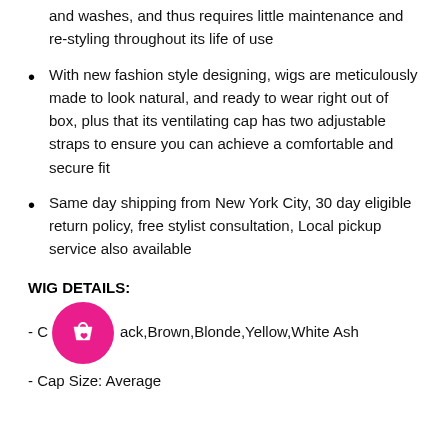and washes, and thus requires little maintenance and re-styling throughout its life of use
With new fashion style designing, wigs are meticulously made to look natural, and ready to wear right out of box, plus that its ventilating cap has two adjustable straps to ensure you can achieve a comfortable and secure fit
Same day shipping from New York City, 30 day eligible return policy, free stylist consultation, Local pickup service also available
WIG DETAILS:
- Color: Black,Brown,Blonde,Yellow,White Ash
- Cap Size: Average